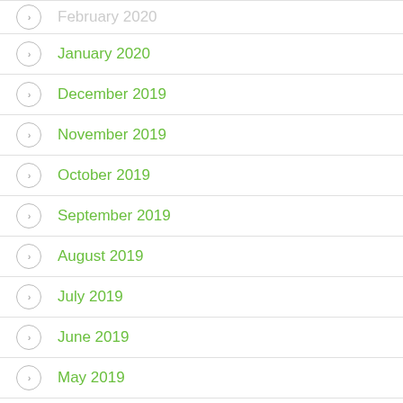February 2020
January 2020
December 2019
November 2019
October 2019
September 2019
August 2019
July 2019
June 2019
May 2019
March 2019